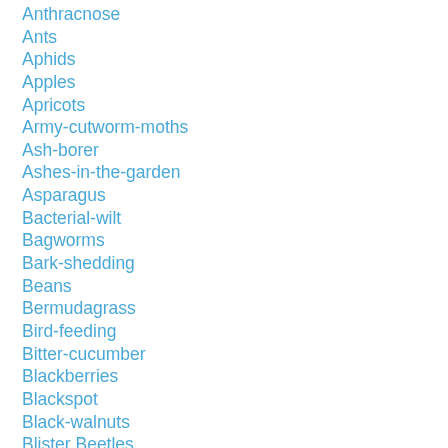Anthracnose
Ants
Aphids
Apples
Apricots
Army-cutworm-moths
Ash-borer
Ashes-in-the-garden
Asparagus
Bacterial-wilt
Bagworms
Bark-shedding
Beans
Bermudagrass
Bird-feeding
Bitter-cucumber
Blackberries
Blackspot
Black-walnuts
Blister Beetles
Blossom End Rot